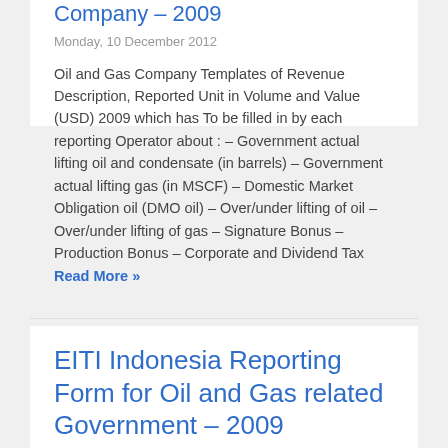Company – 2009
Monday, 10 December 2012
Oil and Gas Company Templates of Revenue Description, Reported Unit in Volume and Value (USD) 2009 which has To be filled in by each reporting Operator about : – Government actual lifting oil and condensate (in barrels) – Government actual lifting gas (in MSCF) – Domestic Market Obligation oil (DMO oil) – Over/under lifting of oil – Over/under lifting of gas – Signature Bonus – Production Bonus – Corporate and Dividend Tax Read More »
EITI Indonesia Reporting Form for Oil and Gas related Government – 2009